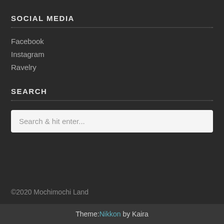SOCIAL MEDIA
Facebook
Instagram
Ravelry
SEARCH
Search & hit enter...
©2020 Mochimochi Land
Theme: Nikkon by Kaira